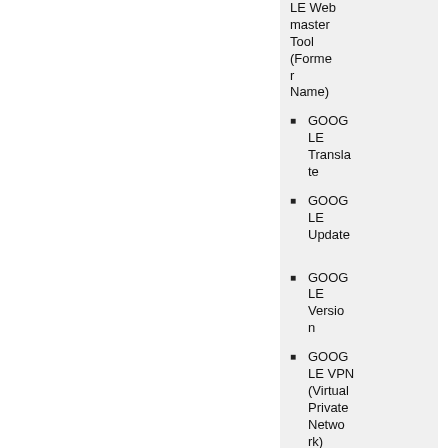LE Webmaster Tool (Former Name)
GOOGLE Translate
GOOGLE Update
GOOGLE Version
GOOGLE VPN (Virtual Private Network)
GOOGLE Verification